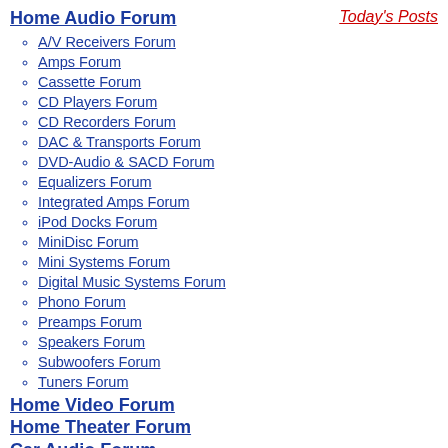Home Audio Forum
Today's Posts
A/V Receivers Forum
Amps Forum
Cassette Forum
CD Players Forum
CD Recorders Forum
DAC & Transports Forum
DVD-Audio & SACD Forum
Equalizers Forum
Integrated Amps Forum
iPod Docks Forum
MiniDisc Forum
Mini Systems Forum
Digital Music Systems Forum
Phono Forum
Preamps Forum
Speakers Forum
Subwoofers Forum
Tuners Forum
Home Video Forum
Home Theater Forum
Car Audio Forum
Accessories Forum
All Forum Topics